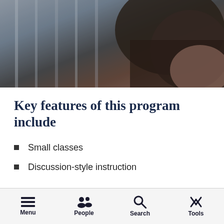[Figure (photo): Close-up photo of a person's head/hair, partially obscured, with blurred background suggesting indoor setting with vertical lines]
Key features of this program include
Small classes
Discussion-style instruction
Menu  People  Search  Tools